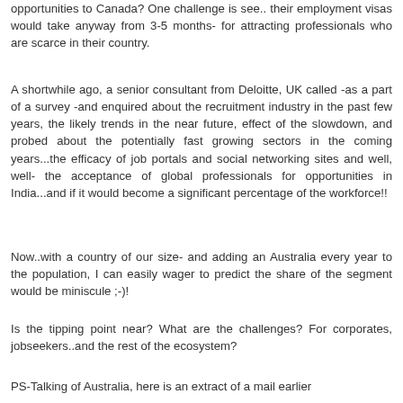opportunities to Canada? One challenge is see.. their employment visas would take anyway from 3-5 months- for attracting professionals who are scarce in their country.
A shortwhile ago, a senior consultant from Deloitte, UK called -as a part of a survey -and enquired about the recruitment industry in the past few years, the likely trends in the near future, effect of the slowdown, and probed about the potentially fast growing sectors in the coming years...the efficacy of job portals and social networking sites and well, well- the acceptance of global professionals for opportunities in India...and if it would become a significant percentage of the workforce!!
Now..with a country of our size- and adding an Australia every year to the population, I can easily wager to predict the share of the segment would be miniscule ;-)!
Is the tipping point near? What are the challenges? For corporates, jobseekers..and the rest of the ecosystem?
PS-Talking of Australia, here is an extract of a mail earlier